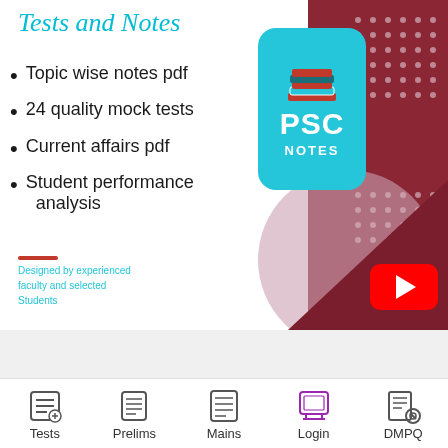Tests and Notes
[Figure (logo): PSC NOTES logo card with teal rounded rectangle, book stack icon, PSC text and NOTES label]
Topic wise notes pdf
24 quality mock tests
Current affairs pdf
Student performance analysis
Designed by experienced faculty and selected Students
[Figure (logo): YouTube red play button icon]
[Figure (logo): WhatsApp green circle icon on bottom left]
C Mains 2022 Tests and Notes
[Figure (logo): Chat bubble icon on bottom right]
Tests
Prelims
Mains
Login
DMPQ